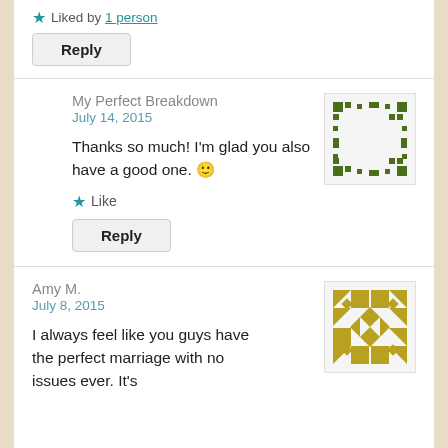★ Liked by 1 person
Reply
My Perfect Breakdown
July 14, 2015
Thanks so much! I'm glad you also have a good one. 🙂
★ Like
Reply
Amy M.
July 8, 2015
I always feel like you guys have the perfect marriage with no issues ever. It's